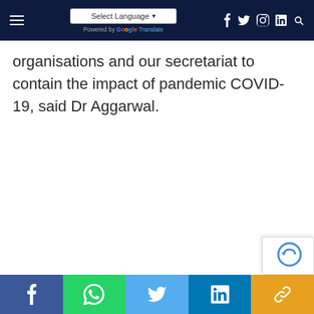Navigation bar with hamburger menu, Select Language dropdown (Powered by Google Translate), and social icons (Facebook, Twitter, Instagram, LinkedIn, Search)
organisations and our secretariat to contain the impact of pandemic COVID-19, said Dr Aggarwal.
Social share bar: Facebook, WhatsApp, Twitter, LinkedIn, Link